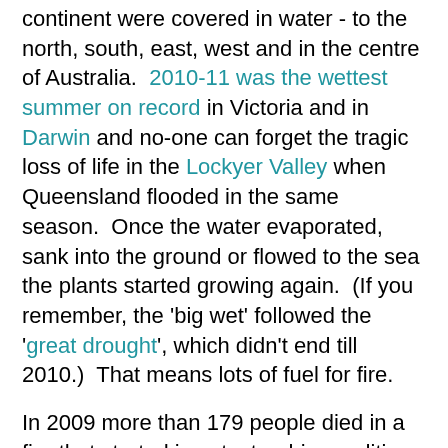continent were covered in water - to the north, south, east, west and in the centre of Australia.  2010-11 was the wettest summer on record in Victoria and in Darwin and no-one can forget the tragic loss of life in the Lockyer Valley when Queensland flooded in the same season.  Once the water evaporated, sank into the ground or flowed to the sea the plants started growing again.  (If you remember, the 'big wet' followed the 'great drought', which didn't end till 2010.)  That means lots of fuel for fire.
In 2009 more than 179 people died in a fire that started in catastrophic conditions on a day known locally as Black Saturday.  Most of us knew some of them or knew people who knew some of them.  It was a bad day that affected the whole nation.
Now it's 2013 and in this 'big heat', fires have taken hold, burning out almost entire small towns and hamlets in Tasmania and continuing to rage in our island state as well as in many parts of the mainland.  NSW had the worst fire danger conditions on record - and fires took hold and are still burning out of control.